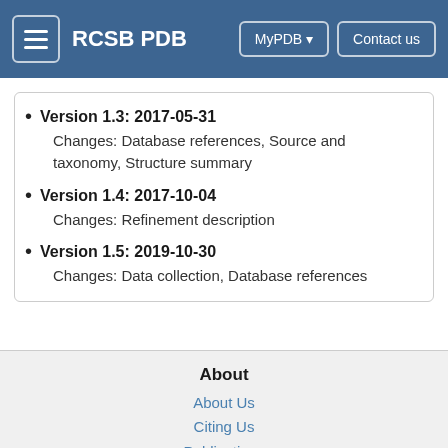RCSB PDB  MyPDB  Contact us
Version 1.3: 2017-05-31
Changes: Database references, Source and taxonomy, Structure summary
Version 1.4: 2017-10-04
Changes: Refinement description
Version 1.5: 2019-10-30
Changes: Data collection, Database references
About
About Us
Citing Us
Publications
Team
Careers